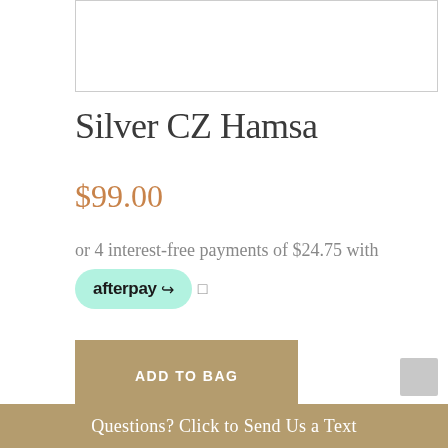[Figure (photo): Product image placeholder area at top of page]
Silver CZ Hamsa
$99.00
or 4 interest-free payments of $24.75 with afterpay
ADD TO BAG
Please allow 2-3 days for processing once your order has been placed. If you need your timepiece sooner, please call our
Questions? Click to Send Us a Text